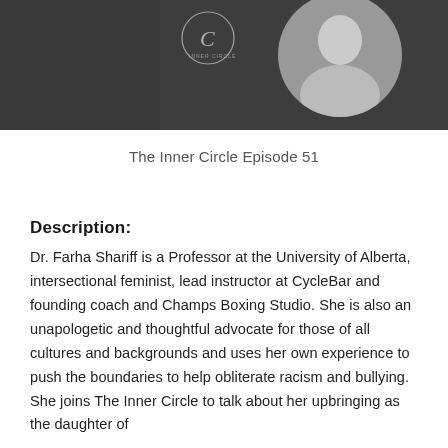[Figure (photo): Dark banner with circular portrait photo of a person and a decorative script logo/watermark on left side]
The Inner Circle Episode 51
Description:
Dr. Farha Shariff is a Professor at the University of Alberta, intersectional feminist, lead instructor at CycleBar and founding coach and Champs Boxing Studio. She is also an unapologetic and thoughtful advocate for those of all cultures and backgrounds and uses her own experience to push the boundaries to help obliterate racism and bullying. She joins The Inner Circle to talk about her upbringing as the daughter of